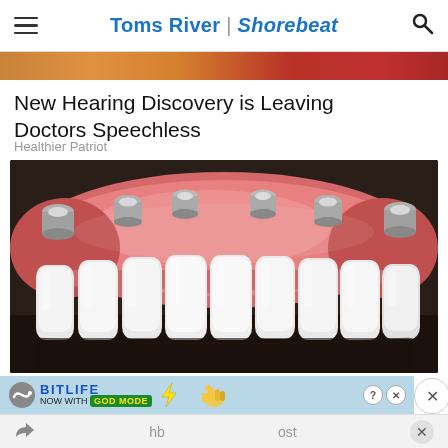Toms River | Shorebeat
[Figure (photo): Partial cropped photo strip at the top showing orange and red colored food items]
New Hearing Discovery is Leaving Doctors Speechless
Healthier Patriot
[Figure (photo): Close-up photo of a dental implant prosthesis showing white teeth with pink gum-colored acrylic material and multiple metal implant connectors on top, placed on a dark wooden surface]
[Figure (screenshot): BitLife advertisement banner: 'NOW WITH GOD MODE' with lightning bolt graphic and pointing hand emoji, help and close buttons, on a light blue background]
hb  ost